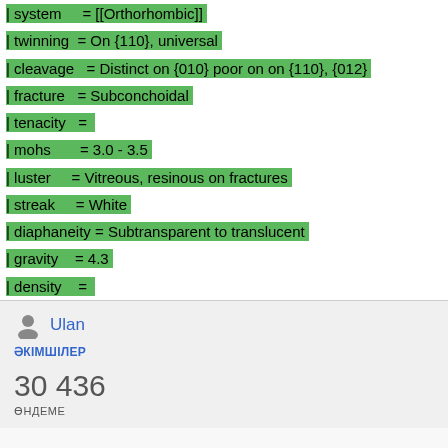| system = [[Orthorhombic]]
| twinning = On {110}, universal
| cleavage = Distinct on {010} poor on on {110}, {012}
| fracture = Subconchoidal
| tenacity =
| mohs = 3.0 - 3.5
| luster = Vitreous, resinous on fractures
| streak = White
| diaphaneity = Subtransparent to translucent
| gravity = 4.3
| density =
Ulan
ӘКІМШІЛЕР
30 436
ӨНДЕМЕ